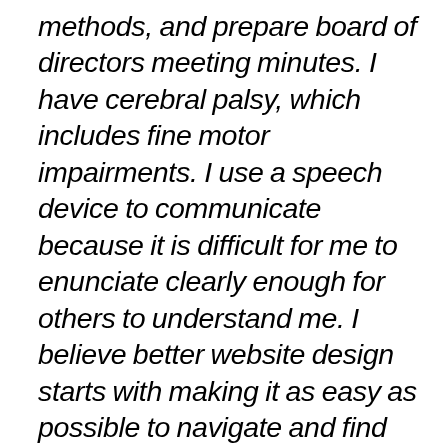methods, and prepare board of directors meeting minutes. I have cerebral palsy, which includes fine motor impairments. I use a speech device to communicate because it is difficult for me to enunciate clearly enough for others to understand me. I believe better website design starts with making it as easy as possible to navigate and find the information sought.